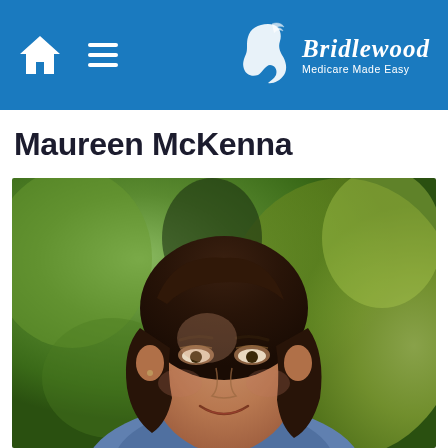Bridlewood Medicare Made Easy
Maureen McKenna
[Figure (photo): Portrait photo of Maureen McKenna, a woman with dark brown shoulder-length hair, smiling, against a blurred outdoor green/bokeh background.]